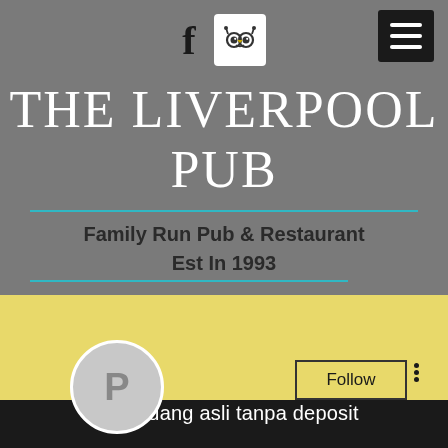[Figure (screenshot): Website header for The Liverpool Pub showing Facebook icon, TripAdvisor icon, hamburger menu button on grey background]
THE LIVERPOOL PUB
Family Run Pub & Restaurant Est In 1993
[Figure (screenshot): Social media profile section on yellow/black background with profile circle showing letter P, Follow button, and three-dot menu]
Poker uang asli tanpa deposit